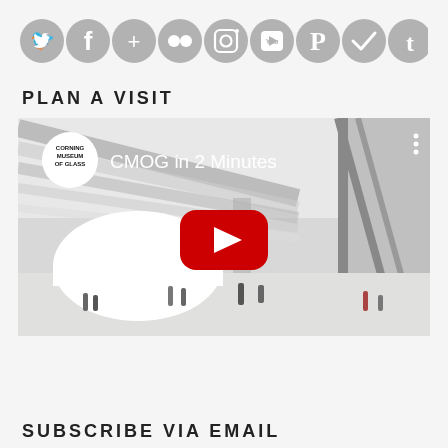[Figure (illustration): Row of 9 social media icon circles in gray: Twitter, Facebook, Google+, Flickr, Instagram, YouTube, Pinterest, Check (Untappd/similar), Tumblr]
PLAN A VISIT
[Figure (screenshot): YouTube video thumbnail showing Corning Museum of Glass interior with large white sculptural installation and visitors. Video title: 'CMOG in 2 Minutes'. Red YouTube play button in center.]
SUBSCRIBE VIA EMAIL